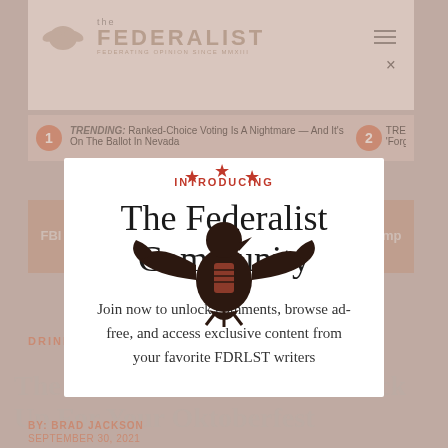[Figure (screenshot): The Federalist website screenshot showing header with logo, trending stories, and a breaking news article about FBI Trump Raid Affidavit, partially obscured by a modal dialog for The Federalist Community]
[Figure (logo): The Federalist eagle logo with three red stars above it]
INTRODUCING
The Federalist Community
Join now to unlock comments, browse ad-free, and access exclusive content from your favorite FDRLST writers